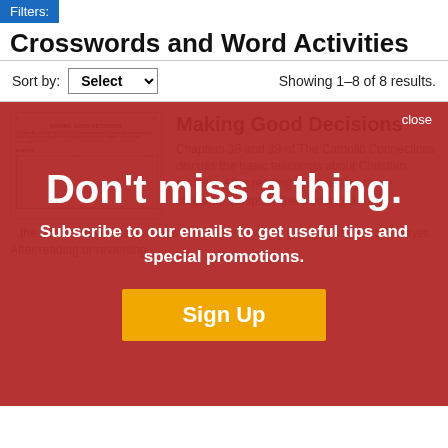Filters:
Crosswords and Word Activities
Sort by: Select   Showing 1–8 of 8 results.
[Figure (screenshot): Thumbnail image of crossword worksheet titled Making Good Decisions]
Making Good Decisions
Chapters 38 and 39 of The Catholic Connections discuss the basic teachings about Christian morality. After reading or reviewing these chapters, complete the crossword.
[Figure (infographic): Red overlay popup with white text: Don't miss a thing. Subscribe to our emails to get useful tips and special promotions. Yellow Sign Up button. Close link top right.]